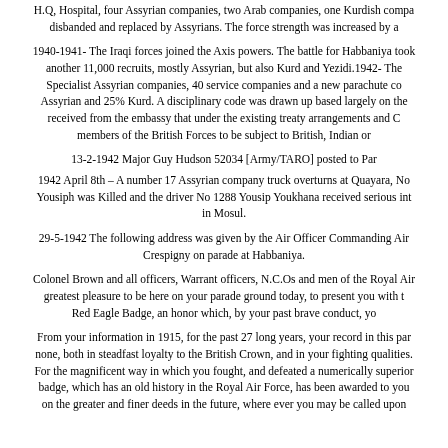H.Q, Hospital, four Assyrian companies, two Arab companies, one Kurdish company, disbanded and replaced by Assyrians. The force strength was increased by a
1940-1941- The Iraqi forces joined the Axis powers. The battle for Habbaniya took another 11,000 recruits, mostly Assyrian, but also Kurd and Yezidi.1942- The Specialist Assyrian companies, 40 service companies and a new parachute company Assyrian and 25% Kurd. A disciplinary code was drawn up based largely on the received from the embassy that under the existing treaty arrangements and G members of the British Forces to be subject to British, Indian or
13-2-1942 Major Guy Hudson 52034 [Army/TARO] posted to Par
1942 April 8th – A number 17 Assyrian company truck overturns at Quayara, No Yousiph was Killed and the driver No 1288 Yousip Youkhana received serious int in Mosul.
29-5-1942 The following address was given by the Air Officer Commanding Air Crespigny on parade at Habbaniya.
Colonel Brown and all officers, Warrant officers, N.C.Os and men of the Royal Air greatest pleasure to be here on your parade ground today, to present you with the Red Eagle Badge, an honor which, by your past brave conduct, yo
From your information in 1915, for the past 27 long years, your record in this par none, both in steadfast loyalty to the British Crown, and in your fighting qualities. For the magnificent way in which you fought, and defeated a numerically superior badge, which has an old history in the Royal Air Force, has been awarded to you on the greater and finer deeds in the future, where ever you may be called upon